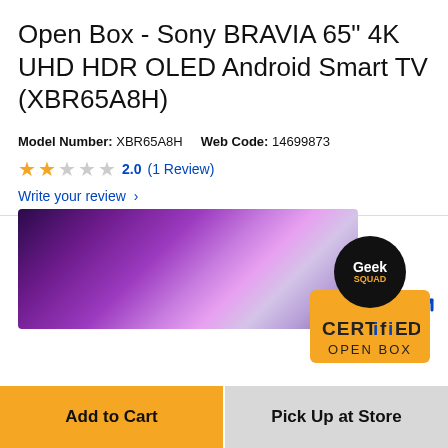Open Box - Sony BRAVIA 65" 4K UHD HDR OLED Android Smart TV (XBR65A8H)
Model Number: XBR65A8H    Web Code: 14699873
2.0 (1 Review)
Write your review >
[Figure (logo): Geek Squad Certified Open Box badge - circular black logo with 'Geek' text and yellow accents, with blue resize arrows, above 'CERTIFIED OPEN BOX' text on yellow background]
[Figure (photo): Sony BRAVIA TV product image showing abstract purple/violet landscape scene on the display]
Add to Cart
Pick Up at Store